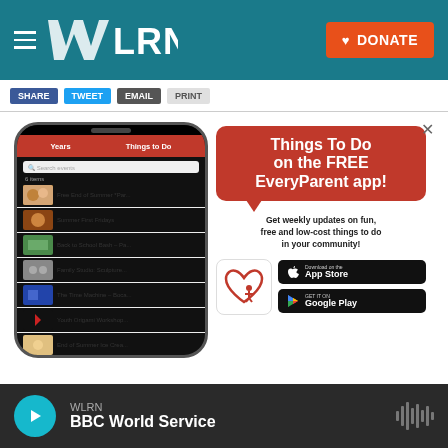WLRN | DONATE
[Figure (screenshot): WLRN website screenshot showing navigation bar with hamburger menu and WLRN logo on teal background, orange DONATE button, social sharing buttons, and an advertisement for the EveryParent app showing Things To Do on the FREE EveryParent app with phone mockup and app store download buttons]
WLRN BBC World Service